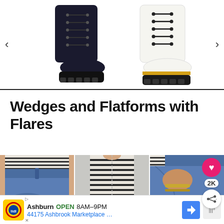[Figure (screenshot): Carousel showing two combat boots: a black lace-up boot on the left and a white lace-up boot with yellow sole on the right, with left and right navigation arrows]
Wedges and Flatforms with Flares
[Figure (photo): Three-panel product photo collage showing women wearing high-waisted blue jeans with a striped long-sleeve top. A pink heart button with 2K count and a share button overlay on the right side.]
Ashburn OPEN 8AM–9PM 44175 Ashbrook Marketplace …